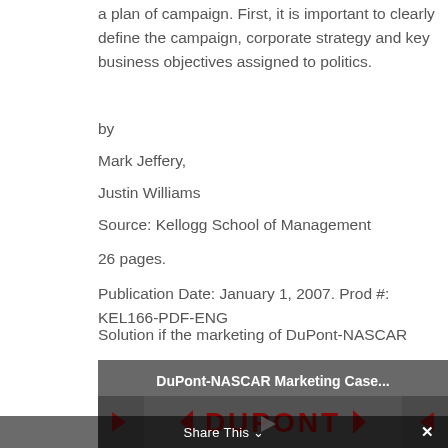a plan of campaign. First, it is important to clearly define the campaign, corporate strategy and key business objectives assigned to politics.
by
Mark Jeffery,
Justin Williams
Source: Kellogg School of Management
26 pages.
Publication Date: January 1, 2007. Prod #: KEL166-PDF-ENG
Solution if the marketing of DuPont-NASCAR
[Figure (screenshot): Video thumbnail for DuPont-NASCAR Marketing Case... showing the DuPont logo in dark red on a grey background with play button controls and a Share This bar at the bottom.]